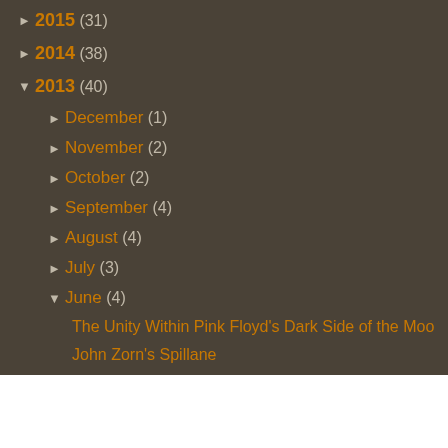► 2015 (31)
► 2014 (38)
▼ 2013 (40)
► December (1)
► November (2)
► October (2)
► September (4)
► August (4)
► July (3)
▼ June (4)
The Unity Within Pink Floyd's Dark Side of the Mo...
John Zorn's Spillane
Butter